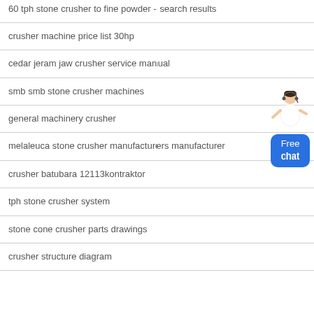60 tph stone crusher to fine powder - search results
crusher machine price list 30hp
cedar jeram jaw crusher service manual
smb smb stone crusher machines
general machinery crusher
melaleuca stone crusher manufacturers manufacturer
crusher batubara 12113kontraktor
tph stone crusher system
stone cone crusher parts drawings
crusher structure diagram
[Figure (illustration): Customer support agent illustration with Free chat button widget in blue]